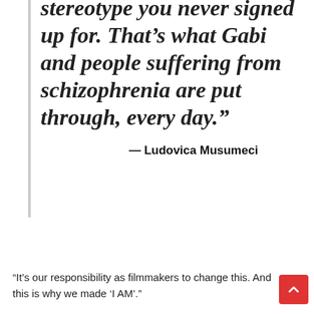stereotype you never signed up for. That's what Gabi and people suffering from schizophrenia are put through, every day."
— Ludovica Musumeci
“It’s our responsibility as filmmakers to change this. And this is why we made ‘I AM’.”